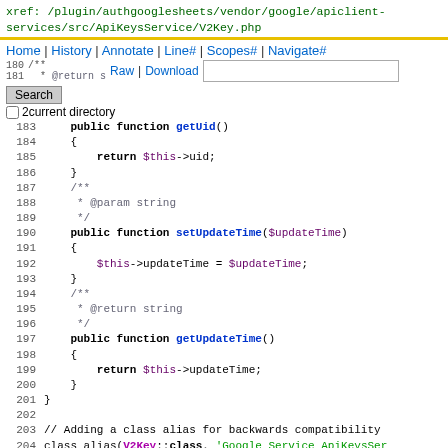xref: /plugin/authgooglesheets/vendor/google/apiclient-services/src/ApiKeysService/V2Key.php
Home | History | Annotate | Line# | Scopes# | Navigate#
Raw | Download [search box] Search  current directory
183     public function getUid()
184     {
185         return $this->uid;
186     }
187     /**
188      * @param string
189      */
190     public function setUpdateTime($updateTime)
191     {
192         $this->updateTime = $updateTime;
193     }
194     /**
195      * @return string
196      */
197     public function getUpdateTime()
198     {
199         return $this->updateTime;
200     }
201 }
202
203 // Adding a class alias for backwards compatibility
204 class_alias(V2Key::class, 'Google_Service_ApiKeysSer
205